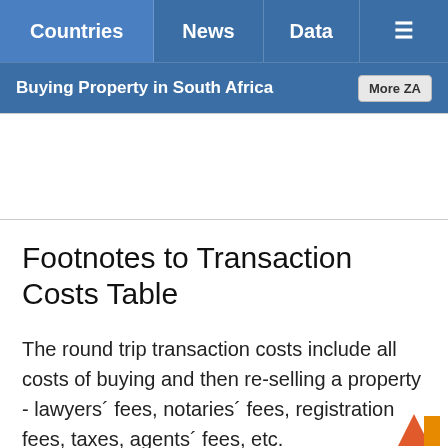Countries | News | Data | Menu
Buying Property in South Africa | More ZA
Footnotes to Transaction Costs Table
The round trip transaction costs include all costs of buying and then re-selling a property - lawyers´ fees, notaries´ fees, registration fees, taxes, agents´ fees, etc.
Transfer Du...